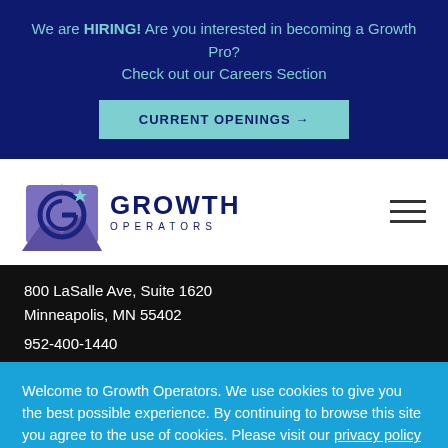We are HIRING! Are you interested in becoming a Growth Pro? Check out our Careers Section
CURRENT OPENINGS →
[Figure (logo): Growth Operators logo with stylized G icon and mountain silhouette]
800 LaSalle Ave, Suite 1620
Minneapolis, MN 55402
952-400-1440
Welcome to Growth Operators. We use cookies to give you the best possible experience. By continuing to browse this site you agree to the use of cookies. Please visit our privacy policy for further details.
Accept